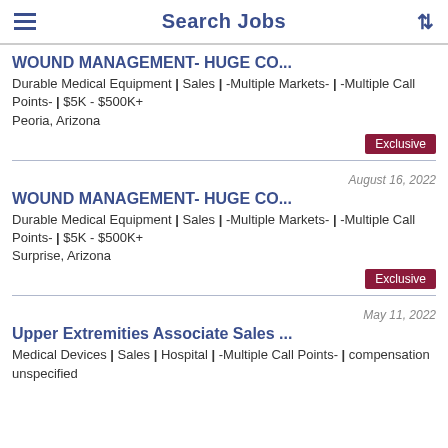Search Jobs
WOUND MANAGEMENT- HUGE CO...
Durable Medical Equipment | Sales | -Multiple Markets- | -Multiple Call Points- | $5K - $500K+
Peoria, Arizona
Exclusive
WOUND MANAGEMENT- HUGE CO...
August 16, 2022
Durable Medical Equipment | Sales | -Multiple Markets- | -Multiple Call Points- | $5K - $500K+
Surprise, Arizona
Exclusive
May 11, 2022
Upper Extremities Associate Sales ...
Medical Devices | Sales | Hospital | -Multiple Call Points- | compensation unspecified